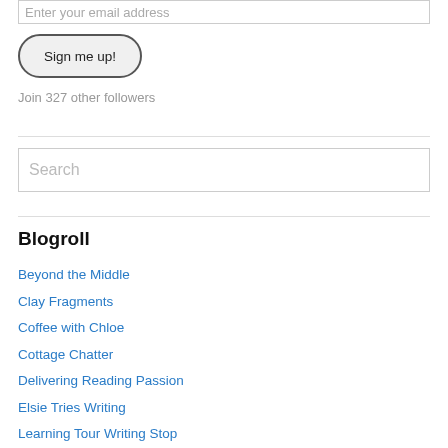Enter your email address
Sign me up!
Join 327 other followers
Search
Blogroll
Beyond the Middle
Clay Fragments
Coffee with Chloe
Cottage Chatter
Delivering Reading Passion
Elsie Tries Writing
Learning Tour Writing Stop